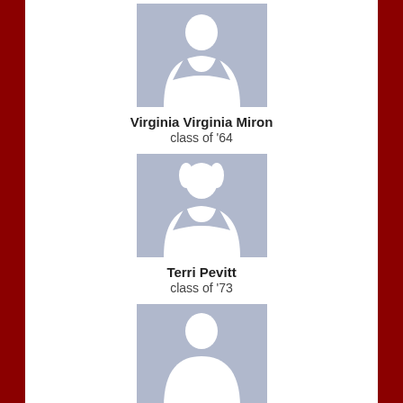[Figure (photo): Placeholder avatar silhouette for Virginia Virginia Miron]
Virginia Virginia Miron
class of '64
[Figure (photo): Placeholder avatar silhouette for Terri Pevitt]
Terri Pevitt
class of '73
[Figure (photo): Placeholder avatar silhouette for David Ealba]
David Ealba
class of '93
[Figure (photo): Placeholder avatar silhouette for Mark Vandeberghe]
Mark Vandeberghe